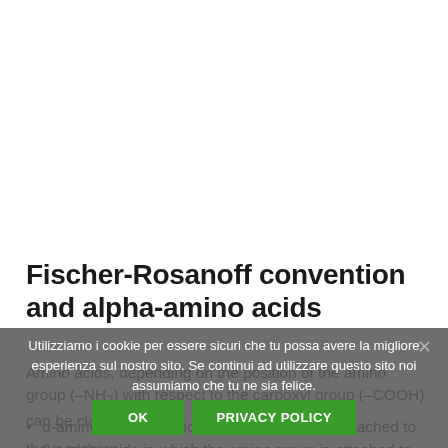Fischer-Rosanoff convention and alpha-amino acids
Amino acids, depending on the position of the amino group (–NH₂) with respect to the carboxyl group (–COOH) can be classified as:
α-amino acids, in which the amino group is attached to the α-carbon;
β-amino acids in which the amino group is attached to the